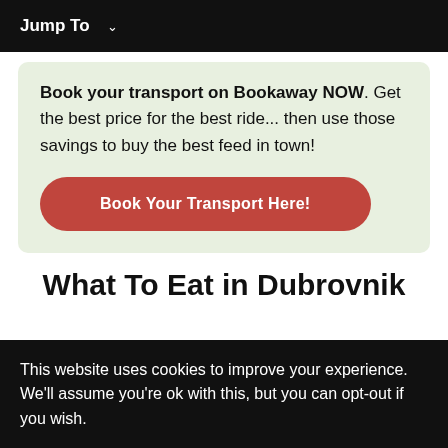Jump To ∨
Book your transport on Bookaway NOW. Get the best price for the best ride... then use those savings to buy the best feed in town!
Book Your Transport Here!
What To Eat in Dubrovnik
This website uses cookies to improve your experience. We'll assume you're ok with this, but you can opt-out if you wish.